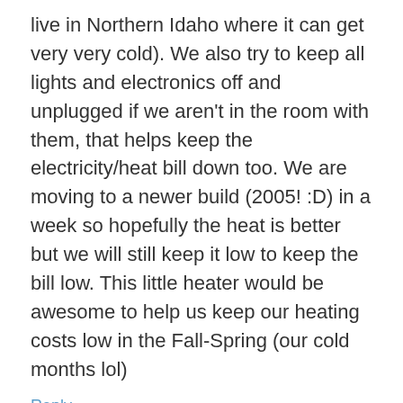live in Northern Idaho where it can get very very cold). We also try to keep all lights and electronics off and unplugged if we aren't in the room with them, that helps keep the electricity/heat bill down too. We are moving to a newer build (2005! :D) in a week so hopefully the heat is better but we will still keep it low to keep the bill low. This little heater would be awesome to help us keep our heating costs low in the Fall-Spring (our cold months lol)
Reply
[Figure (illustration): Gray avatar placeholder image showing a generic user silhouette]
alycep says:
March 8, 2011 at 8:57 pm
Out of necessity I think very carefully before spending